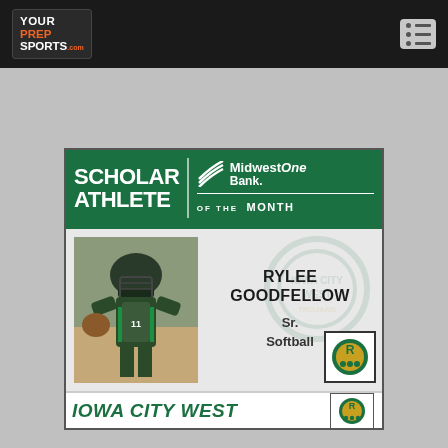YourPrepSports.com
[Figure (infographic): Scholar Athlete of the Month award card for Rylee Goodfellow, Sr., Softball, Iowa City West, sponsored by MidWestOne Bank]
SCHOLAR ATHLETE OF THE MONTH
MidWestOne Bank.
RYLEE GOODFELLOW
Sr.
Softball
IOWA CITY WEST